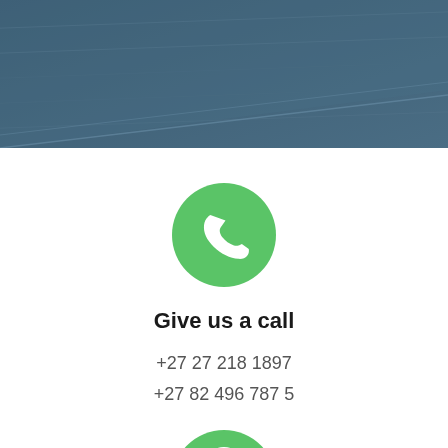[Figure (illustration): Dark blue-grey angled banner header with diagonal line texture pattern]
[Figure (illustration): Green circle icon with white telephone handset symbol]
Give us a call
+27 27 218 1897
+27 82 496 787 5
[Figure (illustration): Green circle icon with white location pin/map marker symbol, partially cropped at bottom]